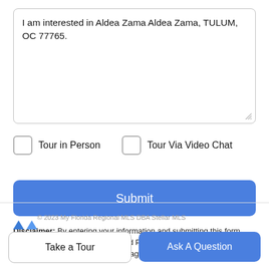I am interested in Aldea Zama Aldea Zama, TULUM, OC 77765.
Tour in Person
Tour Via Video Chat
Submit
Disclaimer: By entering your information and submitting this form, you agree to our Terms of Use and Privacy Policy and that you may be contacted by phone, text message and email about your inquiry.
Take a Tour
Ask A Question